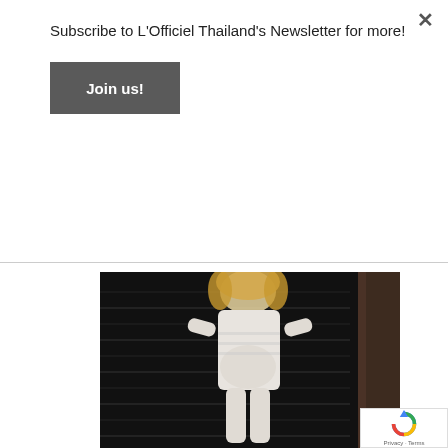Subscribe to L'Officiel Thailand's Newsletter for more!
Join us!
[Figure (photo): A pregnant woman with curly blonde hair wearing a white textured/fringe outfit, posing in front of a dark slatted background with a wooden door frame on the right.]
[Figure (logo): Google reCAPTCHA badge with circular arrow icon and Privacy - Terms text]